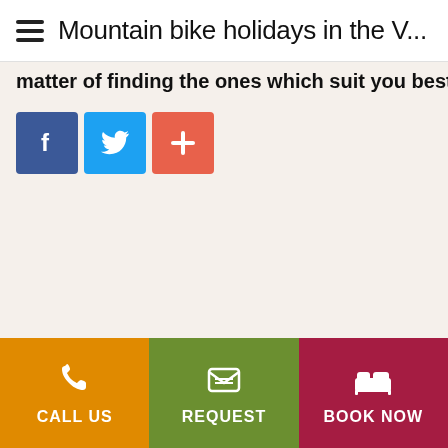Mountain bike holidays in the V...
matter of finding the ones which suit you best!
[Figure (other): Social sharing buttons: Facebook (blue), Twitter (light blue), Google+ / more (red-orange)]
CALL US  REQUEST  BOOK NOW